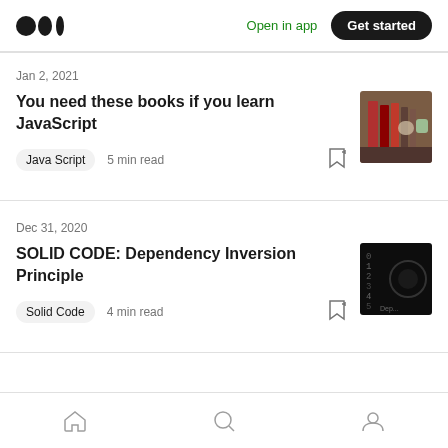Medium logo | Open in app | Get started
Jan 2, 2021
You need these books if you learn JavaScript
Java Script  5 min read
[Figure (photo): Books on a shelf thumbnail]
Dec 31, 2020
SOLID CODE: Dependency Inversion Principle
Solid Code  4 min read
[Figure (photo): Dark code screen thumbnail]
Home | Search | Profile navigation icons